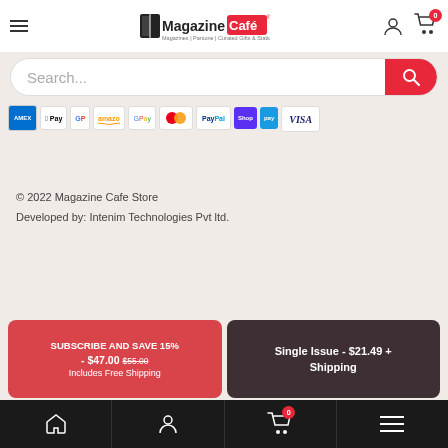Magazine Café® — Magazines | Pantone | Curated Gifts & Stationary
Search...
[Figure (infographic): Row of payment method icons: Amex, Apple Pay, Google Pay, Amazon Pay, GPay, Mastercard, PayPal, Shop Pay, and another card; plus Visa below]
© 2022 Magazine Cafe Store
Developed by: Intenim Technologies Pvt ltd.
SUBSCRIBE AND SAVE 15% - $47.00 $55.00 Includes Free Shipping
Single Issue - $21.49 + Shipping
Home | Account | Cart (0) | Menu